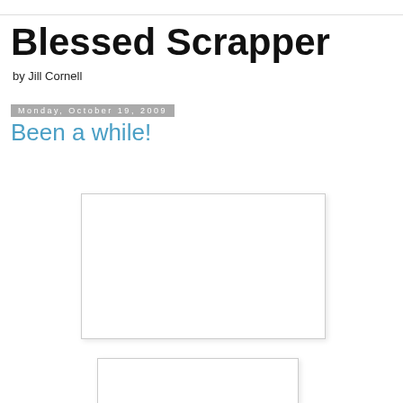Blessed Scrapper
by Jill Cornell
Monday, October 19, 2009
Been a while!
[Figure (photo): Blank white image placeholder box 1]
[Figure (photo): Blank white image placeholder box 2]